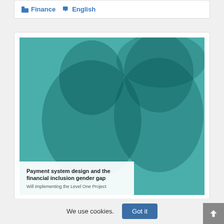Finance  English
[Figure (photo): Teal-tinted photograph of two women smiling, with a white overlay box at the bottom-left containing the document title 'Payment system design and the financial inclusion gender gap' and subtitle 'Will implementing the Level One Project']
Payment system design and the financial inclusion gender gap
Will implementing the Level One Project
We use cookies.
Got it